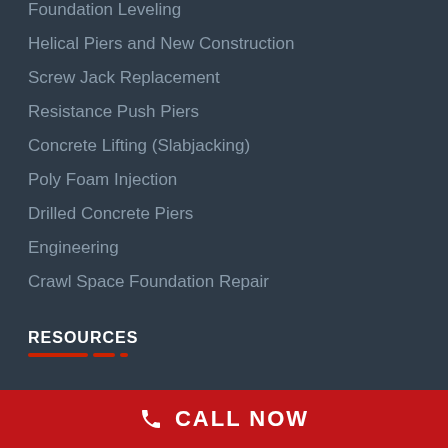Foundation Leveling
Helical Piers and New Construction
Screw Jack Replacement
Resistance Push Piers
Concrete Lifting (Slabjacking)
Poly Foam Injection
Drilled Concrete Piers
Engineering
Crawl Space Foundation Repair
RESOURCES
CALL NOW